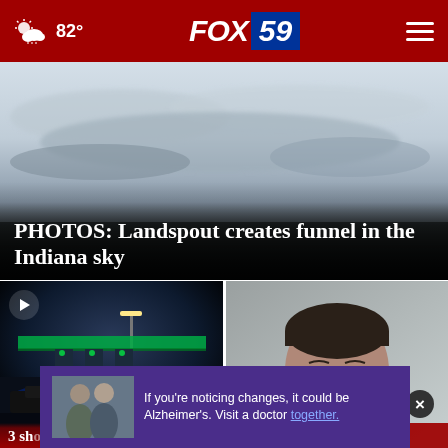82° FOX 59
[Figure (photo): Overcast sky with low dark clouds suggesting a landspout weather event in Indiana]
PHOTOS: Landspout creates funnel in the Indiana sky
[Figure (photo): Night scene of a gas station with police lights, play button overlay indicating video content]
3 shot, 1 killed
[Figure (photo): Portrait of a man from shoulders up against a gray background with a close X button]
Cop not to
If you're noticing changes, it could be Alzheimer's. Visit a doctor together.